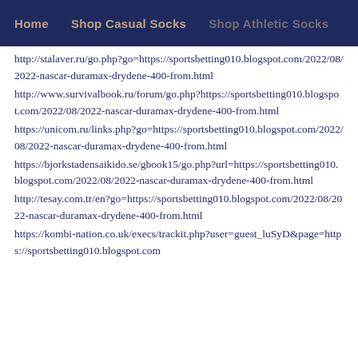Home  Shop Casual Socks  Shop Athletic Socks
http://stalaver.ru/go.php?go=https://sportsbetting010.blogspot.com/2022/08/2022-nascar-duramax-drydene-400-from.html
http://www.survivalbook.ru/forum/go.php?https://sportsbetting010.blogspot.com/2022/08/2022-nascar-duramax-drydene-400-from.html
https://unicom.ru/links.php?go=https://sportsbetting010.blogspot.com/2022/08/2022-nascar-duramax-drydene-400-from.html
https://bjorkstadensaikido.se/gbook15/go.php?url=https://sportsbetting010.blogspot.com/2022/08/2022-nascar-duramax-drydene-400-from.html
http://tesay.com.tr/en?go=https://sportsbetting010.blogspot.com/2022/08/2022-nascar-duramax-drydene-400-from.html
https://kombi-nation.co.uk/execs/trackit.php?user=guest_luSyD&page=https://sportsbetting010.blogspot.com